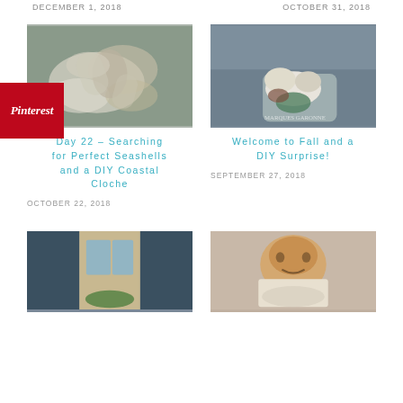DECEMBER 1, 2018
OCTOBER 31, 2018
[Figure (photo): Pile of seashells, white and brown, coastal themed]
Day 22 – Searching for Perfect Seashells and a DIY Coastal Cloche
OCTOBER 22, 2018
[Figure (photo): Galvanized metal tub with white and teal pumpkins for fall decor]
Welcome to Fall and a DIY Surprise!
SEPTEMBER 27, 2018
[Figure (photo): Blue house door with wreath, front porch view]
[Figure (photo): Smiling woman holding a framed item]